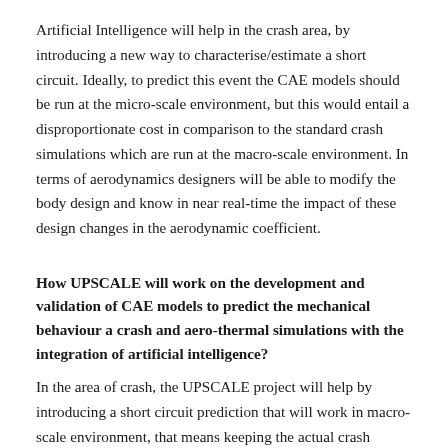Artificial Intelligence will help in the crash area, by introducing a new way to characterise/estimate a short circuit. Ideally, to predict this event the CAE models should be run at the micro-scale environment, but this would entail a disproportionate cost in comparison to the standard crash simulations which are run at the macro-scale environment. In terms of aerodynamics designers will be able to modify the body design and know in near real-time the impact of these design changes in the aerodynamic coefficient.
How UPSCALE will work on the development and validation of CAE models to predict the mechanical behaviour a crash and aero-thermal simulations with the integration of artificial intelligence?
In the area of crash, the UPSCALE project will help by introducing a short circuit prediction that will work in macro-scale environment, that means keeping the actual crash simulation standards.